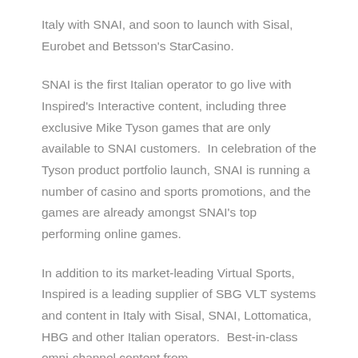Italy with SNAI, and soon to launch with Sisal, Eurobet and Betsson's StarCasino.
SNAI is the first Italian operator to go live with Inspired's Interactive content, including three exclusive Mike Tyson games that are only available to SNAI customers. In celebration of the Tyson product portfolio launch, SNAI is running a number of casino and sports promotions, and the games are already amongst SNAI's top performing online games.
In addition to its market-leading Virtual Sports, Inspired is a leading supplier of SBG VLT systems and content in Italy with Sisal, SNAI, Lottomatica, HBG and other Italian operators. Best-in-class omni-channel content from